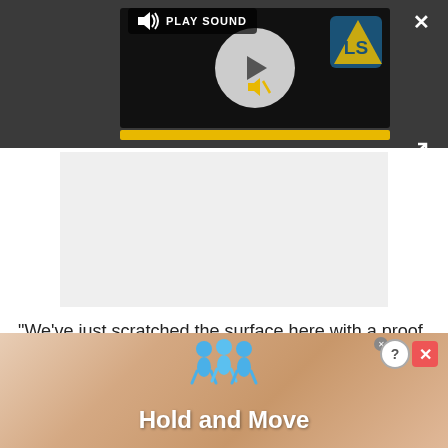[Figure (screenshot): Video player UI with dark background, play button circle, PLAY SOUND label, LS logo, mute icon, yellow progress bar, close X button, and expand icon]
[Figure (screenshot): Gray advertisement placeholder box]
"We've just scratched the surface here with a proof of principle," Fu said, "That's what makes it exciting. There are a lot of possibilities."
[Figure (screenshot): Bottom advertisement banner showing 'Hold and Move' game with blue figures on a wooden board background, with question mark and close X badges]